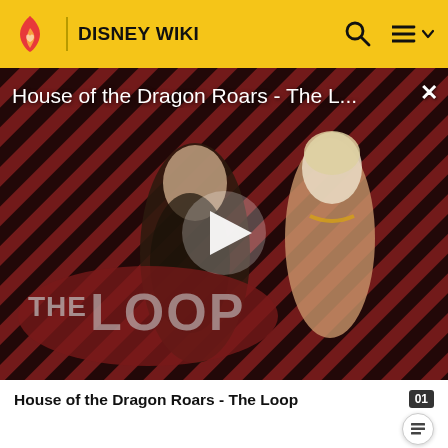DISNEY WIKI
[Figure (screenshot): Video thumbnail for 'House of the Dragon Roars - The L...' showing two characters from House of the Dragon with a diagonal red and black striped background, a large white play button in the center, and 'THE LOOP' watermark in the lower left. A close (X) button appears in the top right.]
House of the Dragon Roars - The Loop
Dopey the candle. Dopey is so terrified upon entering the bedroom that, when he hears a noise coming from the beds, he screams and rushes downstairs. The other